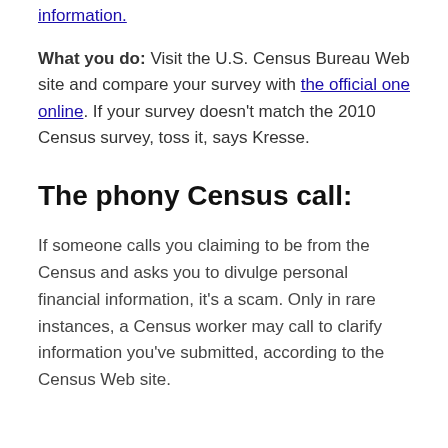information.
What you do: Visit the U.S. Census Bureau Web site and compare your survey with the official one online. If your survey doesn't match the 2010 Census survey, toss it, says Kresse.
The phony Census call:
If someone calls you claiming to be from the Census and asks you to divulge personal financial information, it's a scam. Only in rare instances, a Census worker may call to clarify information you've submitted, according to the Census Web site.